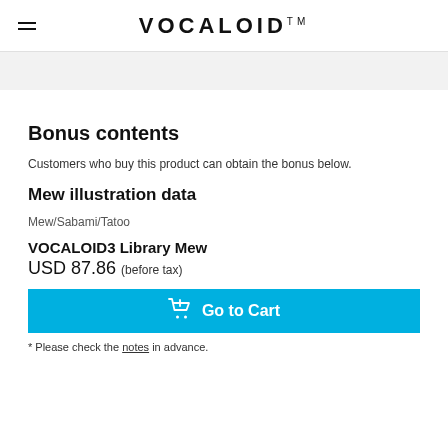VOCALOID™
Bonus contents
Customers who buy this product can obtain the bonus below.
Mew illustration data
Mew/Sabami/Tatoo
VOCALOID3 Library Mew
USD 87.86 (before tax)
Go to Cart
* Please check the notes in advance.